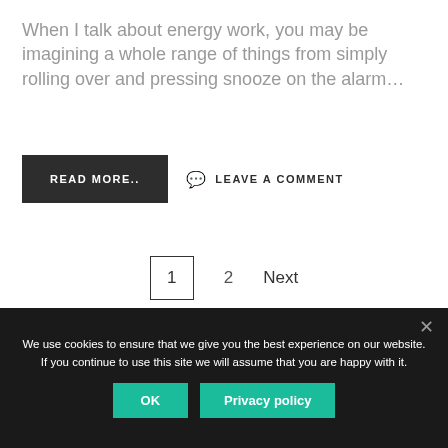When I talk about energy work, you may be imagining a whole range of things from simply rolling over and pressing snooze on the alarm…
READ MORE..
LEAVE A COMMENT
1   2   Next
We use cookies to ensure that we give you the best experience on our website. If you continue to use this site we will assume that you are happy with it.
OK
Privacy policy